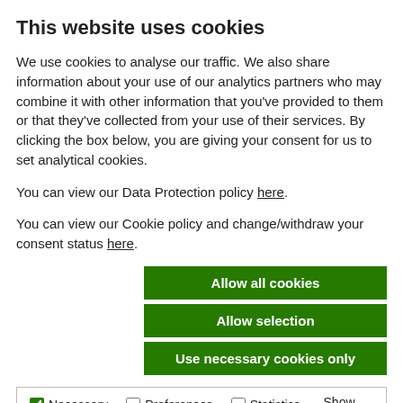This website uses cookies
We use cookies to analyse our traffic. We also share information about your use of our analytics partners who may combine it with other information that you've provided to them or that they've collected from your use of their services. By clicking the box below, you are giving your consent for us to set analytical cookies.
You can view our Data Protection policy here.
You can view our Cookie policy and change/withdraw your consent status here.
Allow all cookies
Allow selection
Use necessary cookies only
Necessary  Preferences  Statistics  Marketing  Show details
...the first step to making a successful claim in the workplace may have grounds for a personal injury claim.
Employers may choose to encourage staff to receive the vaccine, and facilitate the obtaining of the vaccine where possible...